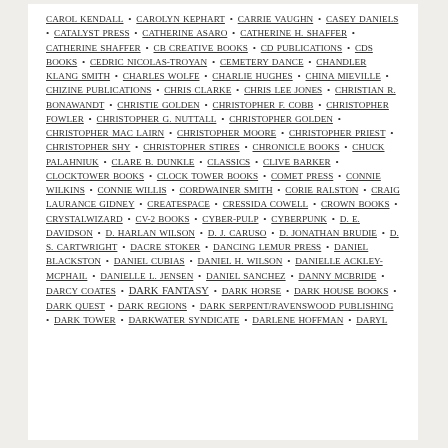CAROL KENDALL • CAROLYN KEPHART • CARRIE VAUGHN • CASEY DANIELS • CATALYST PRESS • CATHERINE ASARO • CATHERINE H. SHAFFER • CATHERINE SHAFFER • CB CREATIVE BOOKS • CD PUBLICATIONS • CDS BOOKS • CEDRIC NICOLAS-TROYAN • CEMETERY DANCE • CHANDLER KLANG SMITH • CHARLES WOLFE • CHARLIE HUGHES • CHINA MIEVILLE • CHIZINE PUBLICATIONS • CHRIS CLARKE • CHRIS LEE JONES • CHRISTIAN R. BONAWANDT • CHRISTIE GOLDEN • CHRISTOPHER F. COBB • CHRISTOPHER FOWLER • CHRISTOPHER G. NUTTALL • CHRISTOPHER GOLDEN • CHRISTOPHER MAC LAIRN • CHRISTOPHER MOORE • CHRISTOPHER PRIEST • CHRISTOPHER SHY • CHRISTOPHER STIRES • CHRONICLE BOOKS • CHUCK PALAHNIUK • CLARE B. DUNKLE • CLASSICS • CLIVE BARKER • CLOCKTOWER BOOKS • CLOCK TOWER BOOKS • COMET PRESS • CONNIE WILKINS • CONNIE WILLIS • CORDWAINER SMITH • CORIE RALSTON • CRAIG LAURANCE GIDNEY • CREATESPACE • CRESSIDA COWELL • CROWN BOOKS • CRYSTALWIZARD • CV-2 BOOKS • CYBER-PULP • CYBERPUNK • D. E. DAVIDSON • D. HARLAN WILSON • D. J. CARUSO • D. JONATHAN BRUDIE • D. S. CARTWRIGHT • DACRE STOKER • DANCING LEMUR PRESS • DANIEL BLACKSTON • DANIEL CUBIAS • DANIEL H. WILSON • DANIELLE ACKLEY-MCPHAIL • DANIELLE L. JENSEN • DANIEL SANCHEZ • DANNY MCBRIDE • DARCY COATES • DARK FANTASY • DARK HORSE • DARK HOUSE BOOKS • DARK QUEST • DARK REGIONS • DARK SERPENT/RAVENSWOOD PUBLISHING • DARK TOWER • DARKWATER SYNDICATE • DARLENE HOFFMAN • DARYL